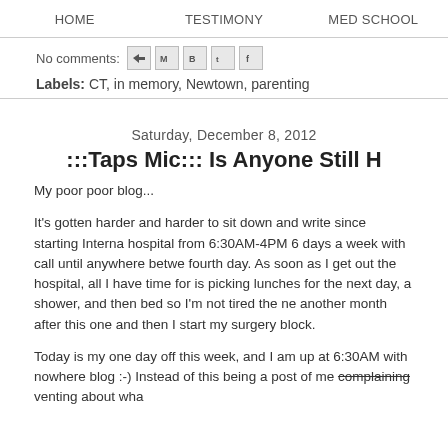HOME   TESTIMONY   MED SCHOOL
No comments:
Labels: CT, in memory, Newtown, parenting
Saturday, December 8, 2012
:::Taps Mic::: Is Anyone Still H
My poor poor blog...
It's gotten harder and harder to sit down and write since starting Interna hospital from 6:30AM-4PM 6 days a week with call until anywhere betwe fourth day. As soon as I get out the hospital, all I have time for is picking lunches for the next day, a shower, and then bed so I'm not tired the ne another month after this one and then I start my surgery block.
Today is my one day off this week, and I am up at 6:30AM with nowhere blog :-) Instead of this being a post of me complaining venting about wha